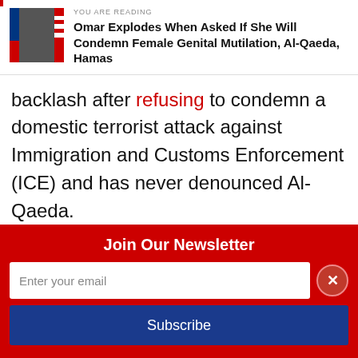YOU ARE READING
Omar Explodes When Asked If She Will Condemn Female Genital Mutilation, Al-Qaeda, Hamas
backlash after refusing to condemn a domestic terrorist attack against Immigration and Customs Enforcement (ICE) and has never denounced Al-Qaeda.
The freshman Democrat also requested a judge show for compassion for men convicted
Join Our Newsletter